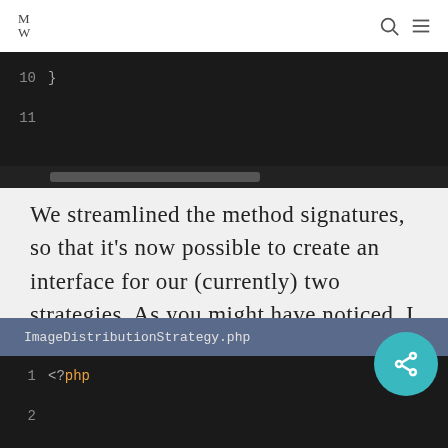MW
[Figure (screenshot): Code editor snippet showing line numbers 10 and 11 on dark background with a horizontal scrollbar]
We streamlined the method signatures, so that it's now possible to create an interface for our (currently) two strategies. As you might have noticed, I did not include the dependencies (repository and logger) because they will be injected via constructor arguments:
[Figure (screenshot): Code editor showing file ImageDistributionStrategy.php with lines 1 (<?php) and 2 (empty) on dark background]